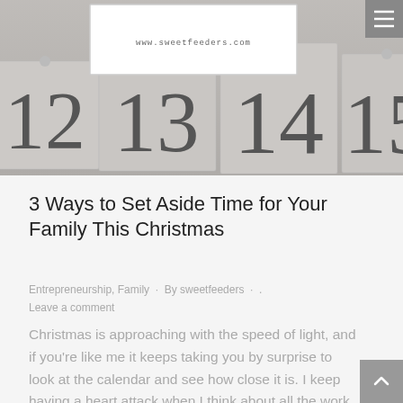[Figure (photo): Hero image of an advent calendar showing numbered wooden blocks 12, 13, 14, 15 in grey tones, with a white logo box overlaid at the top center showing www.sweetfeeders.com, and a hamburger menu icon in the top right corner.]
3 Ways to Set Aside Time for Your Family This Christmas
Entrepreneurship, Family · By sweetfeeders · Leave a comment
Christmas is approaching with the speed of light, and if you're like me it keeps taking you by surprise to look at the calendar and see how close it is. I keep having a heart attack when I think about all the work I need to get done before taking time off to be with.